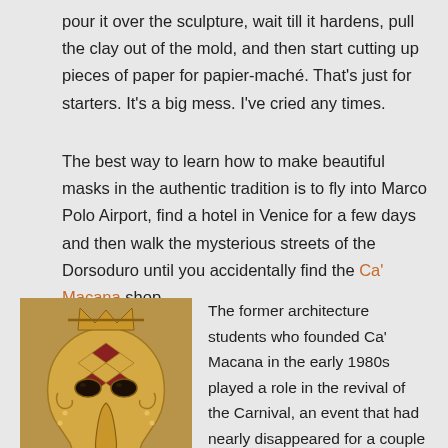pour it over the sculpture, wait till it hardens, pull the clay out of the mold, and then start cutting up pieces of paper for papier-maché. That's just for starters. It's a big mess. I've cried any times.
The best way to learn how to make beautiful masks in the authentic tradition is to fly into Marco Polo Airport, find a hotel in Venice for a few days and then walk the mysterious streets of the Dorsoduro until you accidentally find the Ca' Macana shop.
[Figure (photo): A golden Venetian carnival mask with intricate harlequin diamond patterns in red and gold, featuring an elongated nose and ornate decorative elements on a warm tan/brown background.]
The former architecture students who founded Ca' Macana in the early 1980s played a role in the revival of the Carnival, an event that had nearly disappeared for a couple of centuries. The shop made the masks for Stanley Kubrick's sexy Eyes Wide Shut (1999). I